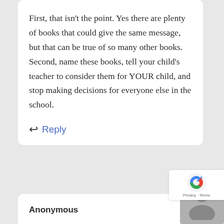First, that isn't the point. Yes there are plenty of books that could give the same message, but that can be true of so many other books. Second, name these books, tell your child's teacher to consider them for YOUR child, and stop making decisions for everyone else in the school.
Reply
Anonymous